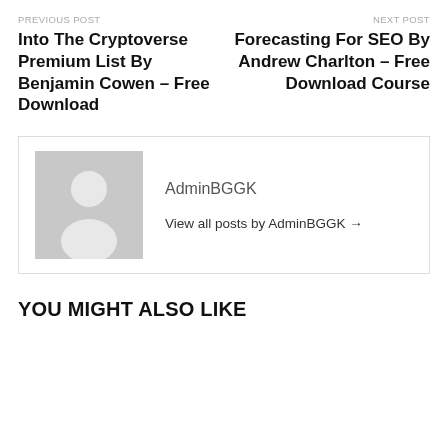PREVIOUS POST
Into The Cryptoverse Premium List By Benjamin Cowen – Free Download
NEXT POST
Forecasting For SEO By Andrew Charlton – Free Download Course
[Figure (illustration): Generic user avatar placeholder image (grey silhouette on grey background)]
AdminBGGK
View all posts by AdminBGGK →
YOU MIGHT ALSO LIKE